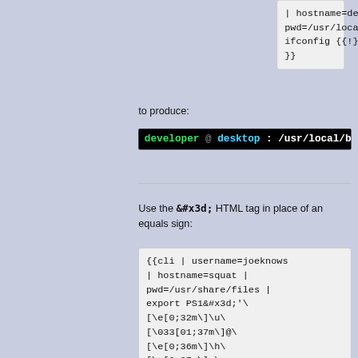| hostname=desktop | pwd=/usr/local/bin | ifconfig {{!}} grep eth0 }}
to produce:
[Figure (screenshot): Terminal bar showing: developer @ desktop : /usr/local/b... (truncated) in green and cyan on black background]
Use the &#x3d; HTML tag in place of an equals sign:
{{cli | username=joeknows | hostname=squat | pwd=/usr/share/files | export PS1&#x3d;'\[\e[0;32m\]\u\[\033[01;37m\]@\[\e[0;36m\]\h\[\e[0;37m\]:\[\e[01;36m\]\w\[\e[01;33m\] \$\[\e[m\] '